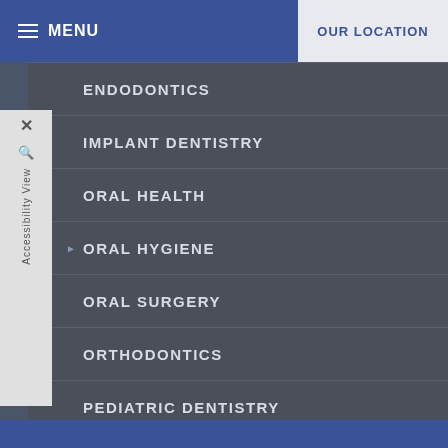MENU | OUR LOCATION
ENDODONTICS
IMPLANT DENTISTRY
ORAL HEALTH
ORAL HYGIENE
ORAL SURGERY
ORTHODONTICS
PEDIATRIC DENTISTRY
PERIODONTAL THERAPY
TECHNOLOGY